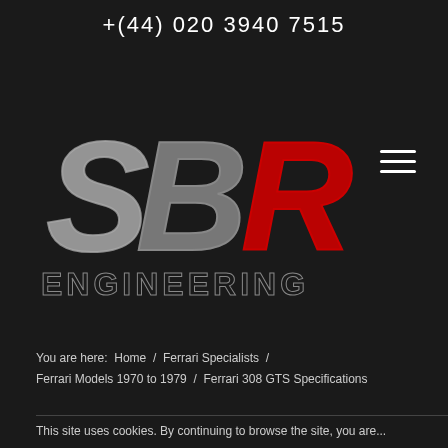+(44) 020 3940 7515
[Figure (logo): SBR Engineering logo — 'SBR' in large italic letters (S and B in silver/grey, R in red) with 'ENGINEERING' below in grey outline capital letters, on a dark background]
You are here:  Home  /  Ferrari Specialists  /  Ferrari Models 1970 to 1979  /  Ferrari 308 GTS Specifications
This site uses cookies. By continuing to browse the site, you are...